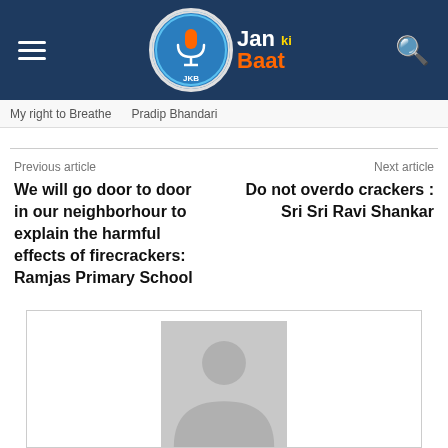Jan Ki Baat
My right to Breathe   Pradip Bhandari
Previous article
We will go door to door in our neighborhour to explain the harmful effects of firecrackers: Ramjas Primary School
Next article
Do not overdo crackers : Sri Sri Ravi Shankar
[Figure (illustration): Gray placeholder avatar/silhouette image of a person inside a bordered box]